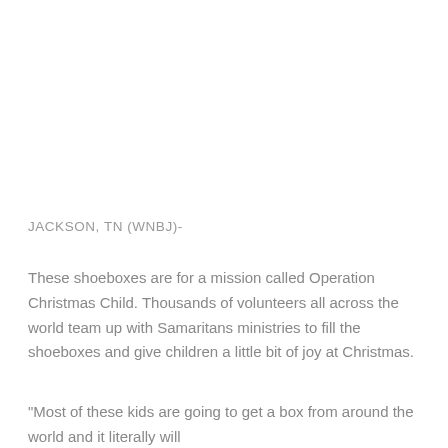JACKSON, TN (WNBJ)-
These shoeboxes are for a mission called Operation Christmas Child. Thousands of volunteers all across the world team up with Samaritans ministries to fill the shoeboxes and give children a little bit of joy at Christmas.
"Most of these kids are going to get a box from around the world and it literally will